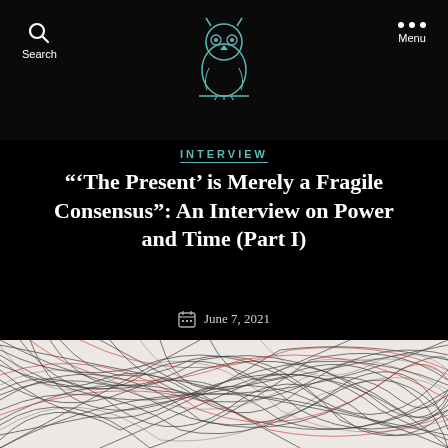Search | [owl logo] | Menu
INTERVIEW
“‘The Present’ is Merely a Fragile Consensus”: An Interview on Power and Time (Part I)
June 7, 2021
[Figure (illustration): Abstract line drawing with dense overlapping curved and diagonal black lines, with some red accent lines, creating a complex geometric pattern on a light background.]